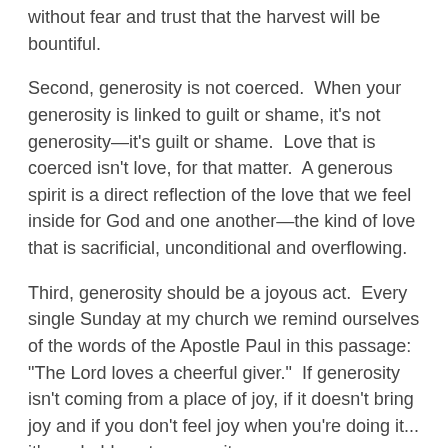hope. Being generous means that you are going to give without fear and trust that the harvest will be bountiful.
Second, generosity is not coerced. When your generosity is linked to guilt or shame, it's not generosity—it's guilt or shame. Love that is coerced isn't love, for that matter. A generous spirit is a direct reflection of the love that we feel inside for God and one another—the kind of love that is sacrificial, unconditional and overflowing.
Third, generosity should be a joyous act. Every single Sunday at my church we remind ourselves of the words of the Apostle Paul in this passage: "The Lord loves a cheerful giver." If generosity isn't coming from a place of joy, if it doesn't bring joy and if you don't feel joy when you're doing it... it's probably not generosity.
Paul then goes on to explain what happens when you have a generous spirit and live in generosity.